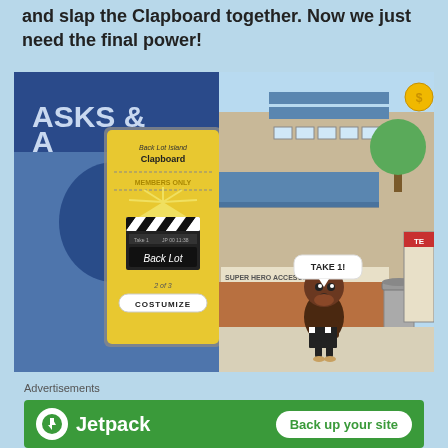and slap the Clapboard together. Now we just need the final power!
[Figure (screenshot): Game screenshot split into two panels. Left panel shows a yellow card/item popup for 'Back Lot Island Clapboard MEMBERS ONLY' with a clapperboard illustration, text 'Back Lot' and a 'COSTUMIZE' button, labeled '2 of 3'. Right panel shows a cartoon street scene with 'SUPER HERO ACCESORIES' store sign and a cartoon character holding a clapboard with a speech bubble saying 'TAKE 1!']
Advertisements
[Figure (screenshot): Green advertisement banner for Jetpack with logo icon on left, 'Jetpack' text, and a white button 'Back up your site' on the right]